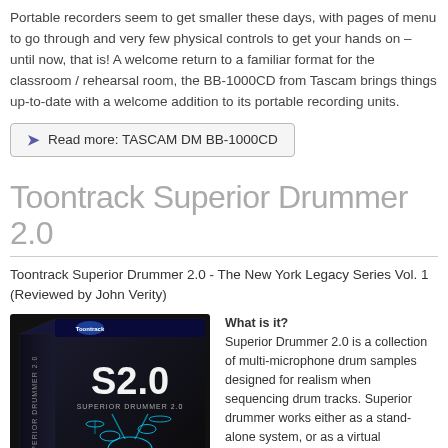Portable recorders seem to get smaller these days, with pages of menu to go through and very few physical controls to get your hands on – until now, that is!   A welcome return to a familiar format for the classroom / rehearsal room, the BB-1000CD from Tascam brings things up-to-date with a welcome addition to its portable recording units.
Read more: TASCAM DM BB-1000CD
Toontrack Superior Drummer 2.0
Toontrack Superior Drummer 2.0 - The New York Legacy Series Vol. 1  (Reviewed by John Verity)
[Figure (photo): Product box of Toontrack Superior Drummer 2.0 (S2.0) showing a dark box with cyan/blue drum kit illustration]
What is it?
Superior Drummer 2.0 is a collection of multi-microphone drum samples designed for realism when sequencing drum tracks. Superior drummer works either as a stand-alone system, or as a virtual instrument/ plug-in inside your DAW of choice. For the purposes of this piece I used